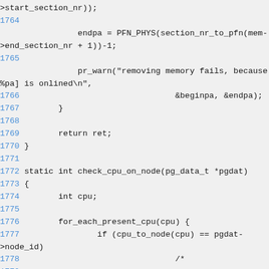Source code listing lines 1764-1781 showing C kernel memory management functions including check_cpu_on_node and related code for removing memory sections.